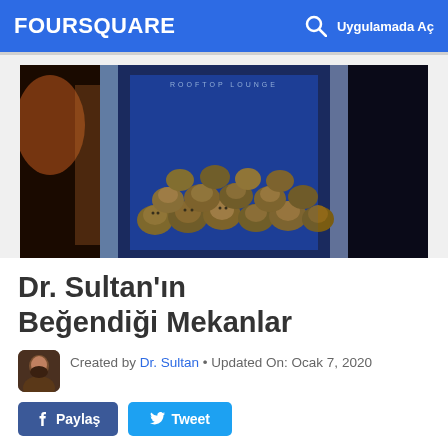FOURSQUARE   Uygulamada Aç
[Figure (photo): Photo of a claw machine/arcade crane game filled with many small stuffed animal toys, viewed through glass, with blue lighting inside. Sign reads 'ROOFTOP LOUNGE' at the top.]
Dr. Sultan'ın Beğendiği Mekanlar
Created by Dr. Sultan • Updated On: Ocak 7, 2020
Paylaş   Tweet